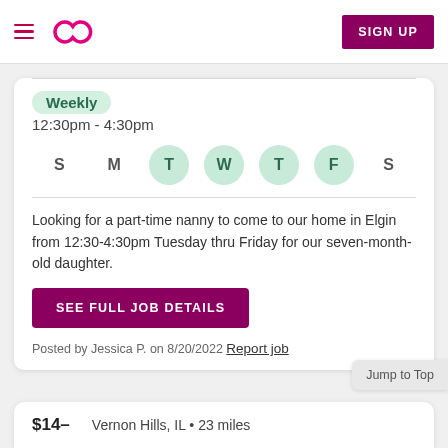Navigation bar with hamburger menu, Sittercity logo, and SIGN UP button
Weekly
12:30pm - 4:30pm
S M T W T F S — Tuesday, Wednesday, Thursday, Friday highlighted
Looking for a part-time nanny to come to our home in Elgin from 12:30-4:30pm Tuesday thru Friday for our seven-month-old daughter.
SEE FULL JOB DETAILS
Posted by Jessica P. on 8/20/2022 Report job
Jump to Top
$14– Vernon Hills, IL • 23 miles